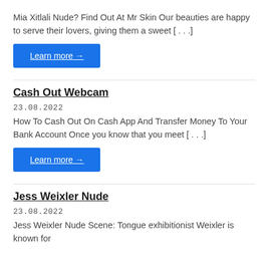Mia Xitlali Nude? Find Out At Mr Skin Our beauties are happy to serve their lovers, giving them a sweet [...]
Learn more →
Cash Out Webcam
23.08.2022
How To Cash Out On Cash App And Transfer Money To Your Bank Account Once you know that you meet [...]
Learn more →
Jess Weixler Nude
23.08.2022
Jess Weixler Nude Scene: Tongue exhibitionist Weixler is known for...